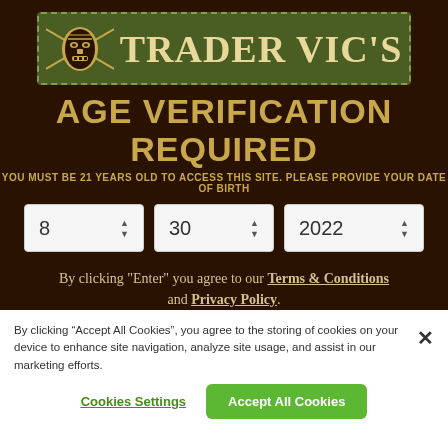[Figure (logo): Trader Vic's logo banner with tiki mask illustration on dark green background with dashed border. Text reads TRADER VIC'S in large serif font.]
AGE VERIFICATION REQUIRED
YOU MUST BE 21 YEARS OLD TO ACCESS THIS SITE. PLEASE PROVIDE YOUR DATE OF BIRTH
[Figure (other): Date of birth selector with three dropdown boxes showing values: 8, 30, 2022]
By clicking "Enter" you agree to our Terms & Conditions and Privacy Policy.
By clicking “Accept All Cookies”, you agree to the storing of cookies on your device to enhance site navigation, analyze site usage, and assist in our marketing efforts.
Cookies Settings
Accept All Cookies